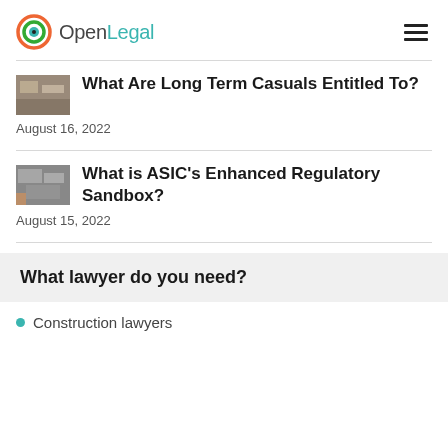OpenLegal
What Are Long Term Casuals Entitled To?
August 16, 2022
What is ASIC's Enhanced Regulatory Sandbox?
August 15, 2022
What lawyer do you need?
Construction lawyers